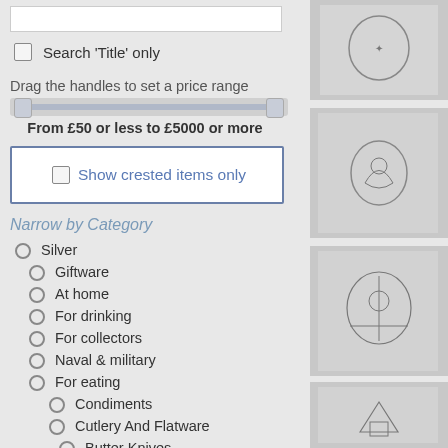[Figure (screenshot): Search input text box (white rectangle)]
Search 'Title' only (checkbox)
Drag the handles to set a price range
[Figure (other): Price range slider with handles at each end]
From £50 or less to £5000 or more
Show crested items only (checkbox in bordered box)
Narrow by Category
Silver (radio button)
Giftware (radio button)
At home (radio button)
For drinking (radio button)
For collectors (radio button)
Naval & military (radio button)
For eating (radio button)
Condiments (radio button)
Cutlery And Flatware (radio button)
Butter Knives (radio button, partially visible)
[Figure (photo): Silver item crest photo - top right, partially cut off]
[Figure (photo): Silver item crest photo - second from top right]
[Figure (photo): Silver item crest photo - third from top right]
[Figure (photo): Silver item crest photo - fourth from top right, partially cut off at bottom]